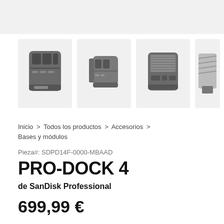[Figure (photo): Gallery of four product images of the SanDisk Professional PRO-DOCK 4: front view, side/perspective view, rear view ports, and a partial fourth image showing accessories on a stand]
Inicio > Todos los productos > Accesorios > Bases y módulos
Pieza#: SDPD14F-0000-MBAAD
PRO-DOCK 4
de SanDisk Professional
699,99 €